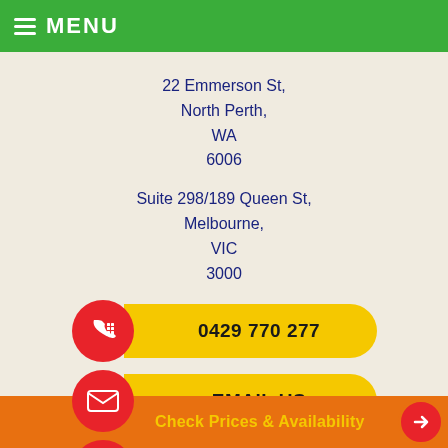MENU
22 Emmerson St,
North Perth,
WA
6006
Suite 298/189 Queen St,
Melbourne,
VIC
3000
[Figure (infographic): Yellow pill-shaped button with red circle icon showing phone, label reads 0429 770 277]
[Figure (infographic): Yellow pill-shaped button with red circle icon showing envelope, label reads EMAIL US]
[Figure (infographic): Yellow pill-shaped button with red circle icon showing bus, label reads ENQUIRY]
[Figure (infographic): Orange bottom bar with text Check Prices & Availability and red arrow circle, with cartoon bus illustration]